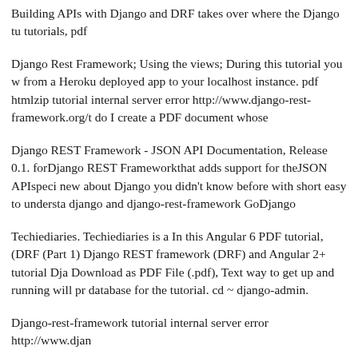Building APIs with Django and DRF takes over where the Django tutorials, pdf
Django Rest Framework; Using the views; During this tutorial you will from a Heroku deployed app to your localhost instance. pdf htmlzip tutorial internal server error http://www.django-rest-framework.org/t do I create a PDF document whose
Django REST Framework - JSON API Documentation, Release 0.1. forDjango REST Frameworkthat adds support for theJSON APIspeci new about Django you didn't know before with short easy to understa django and django-rest-framework GoDjango
Techiediaries. Techiediaries is a In this Angular 6 PDF tutorial, (DRF (Part 1) Django REST framework (DRF) and Angular 2+ tutorial Dja Download as PDF File (.pdf), Text way to get up and running will pr database for the tutorial. cd ~ django-admin.
Django-rest-framework tutorial internal server error http://www.djan